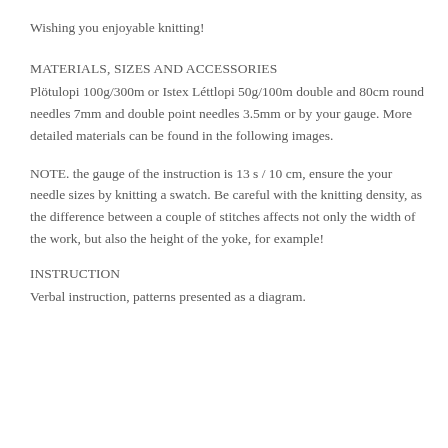Wishing you enjoyable knitting!
MATERIALS, SIZES AND ACCESSORIES
Plötulopi 100g/300m or Istex Léttlopi 50g/100m double and 80cm round needles 7mm and double point needles 3.5mm or by your gauge. More detailed materials can be found in the following images.
NOTE. the gauge of the instruction is 13 s / 10 cm, ensure the your needle sizes by knitting a swatch. Be careful with the knitting density, as the difference between a couple of stitches affects not only the width of the work, but also the height of the yoke, for example!
INSTRUCTION
Verbal instruction, patterns presented as a diagram.